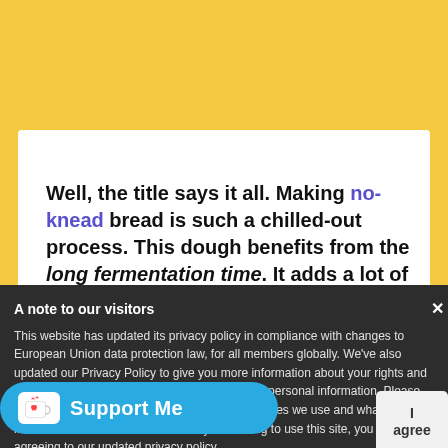Well, the title says it all. Making no-knead bread is such a chilled-out process. This dough benefits from the long fermentation time. It adds a lot of flavour.
A note to our visitors
This website has updated its privacy policy in compliance with changes to European Union data protection law, for all members globally. We've also updated our Privacy Policy to give you more information about your rights and responsibilities with respect to your privacy and personal information. Please read this to review the updates about which cookies we use and what information we collect on our site. By continuing to use this site, you are agreeing to our updated privacy policy.
[Figure (other): Support Me button with Ko-fi coffee cup icon on a cyan/blue background]